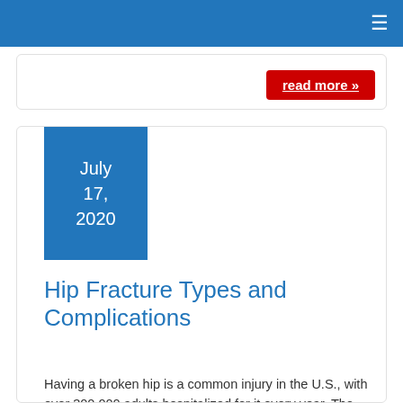≡
read more »
July 17, 2020
Hip Fracture Types and Complications
Having a broken hip is a common injury in the U.S., with over 300,000 adults hospitalized for it every year. The hip joint is a ball-and-socket joint, where the head of the femur – often